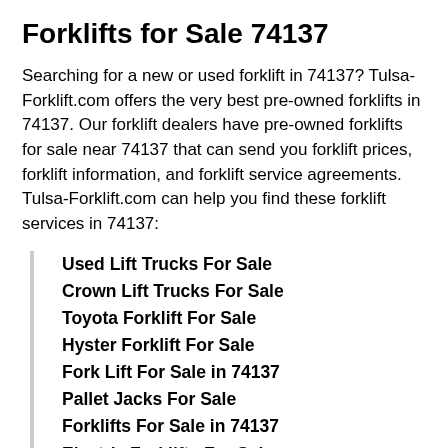Forklifts for Sale 74137
Searching for a new or used forklift in 74137? Tulsa-Forklift.com offers the very best pre-owned forklifts in 74137. Our forklift dealers have pre-owned forklifts for sale near 74137 that can send you forklift prices, forklift information, and forklift service agreements. Tulsa-Forklift.com can help you find these forklift services in 74137:
Used Lift Trucks For Sale
Crown Lift Trucks For Sale
Toyota Forklift For Sale
Hyster Forklift For Sale
Fork Lift For Sale in 74137
Pallet Jacks For Sale
Forklifts For Sale in 74137
Electric Forklifts For Sale